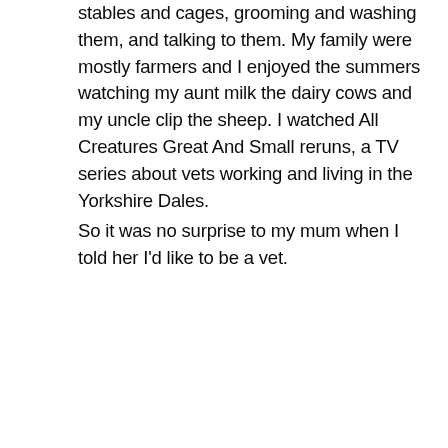stables and cages, grooming and washing them, and talking to them. My family were mostly farmers and I enjoyed the summers watching my aunt milk the dairy cows and my uncle clip the sheep. I watched All Creatures Great And Small reruns, a TV series about vets working and living in the Yorkshire Dales.
So it was no surprise to my mum when I told her I'd like to be a vet.